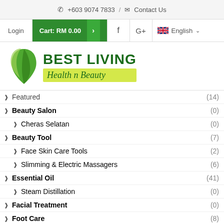+603 9074 7833 / Contact Us
[Figure (screenshot): Navigation bar with Login, Cart: RM 0.00, Facebook, Google+, and English language selector]
[Figure (logo): Best Living Health n Beauty logo with green leaf icon, bold BEST LIVING text, and italic Health n Beauty on yellow-green background]
Featured (14)
Beauty Salon (0)
Cheras Selatan (0)
Beauty Tool (7)
Face Skin Care Tools (2)
Slimming & Electric Massagers (6)
Essential Oil (41)
Steam Distillation (0)
Facial Treatment (0)
Foot Care (8)
Foot Cream (5)
Repairing Cream (1)